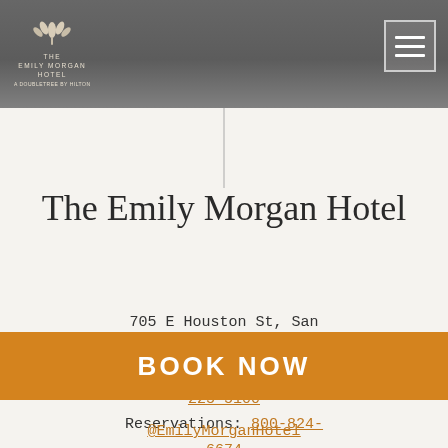The Emily Morgan Hotel — Header navigation bar with logo and menu button
The Emily Morgan Hotel
705 E Houston St, San Antonio, TX 78205
Main Line and Sales: 210-225-5100
Reservations: 800-824-6674
BOOK NOW
@EmilyMorganHotel